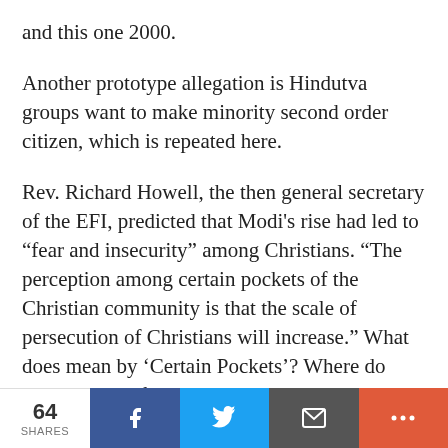and this one 2000.
Another prototype allegation is Hindutva groups want to make minority second order citizen, which is repeated here.
Rev. Richard Howell, the then general secretary of the EFI, predicted that Modi’s rise had led to “fear and insecurity” among Christians. “The perception among certain pockets of the Christian community is that the scale of persecution of Christians will increase.” What does mean by ‘Certain Pockets’? Where do these pockets fear
64 SHARES